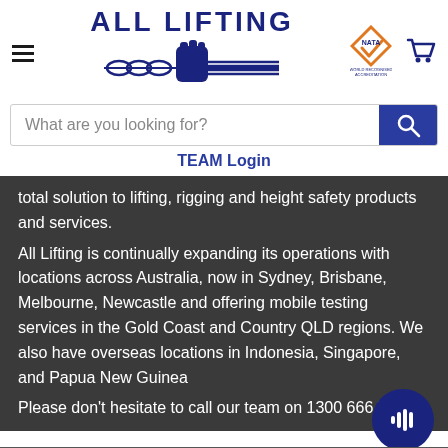[Figure (logo): All Lifting logo with chain and fist image, NATA accreditation badge, shopping cart icon, and hamburger menu]
What are you looking for?
TEAM Login
total solution to lifting, rigging and height safety products and services.
All Lifting is continually expanding its operations with locations across Australia, now in Sydney, Brisbane, Melbourne, Newcastle and offering mobile testing services in the Gold Coast and Country QLD regions. We also have overseas locations in Indonesia, Singapore, and Papua New Guinea
Please don't hesitate to call our team on 1300 666 7...